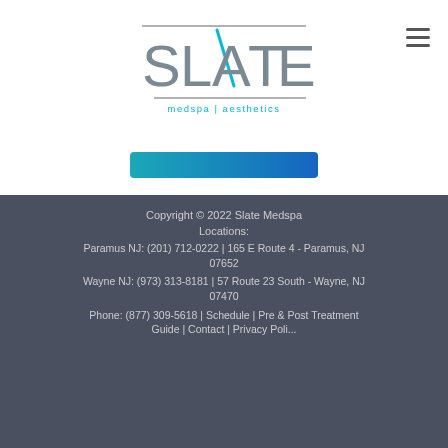[Figure (logo): Slate Medspa Aesthetics logo — large stylized SLATE text with teal diagonal slash accent, 'medspa | aesthetics' subtitle, horizontal lines top and bottom]
[Figure (other): Teal/blue gradient CTA button, partially visible text]
Copyright © 2022 Slate Medspa

Locations:

Paramus NJ: (201) 712-0222 | 165 E Route 4 - Paramus, NJ 07652

Wayne NJ: (973) 313-8181 | 57 Route 23 South - Wayne, NJ 07470

Phone: (877) 309-5618 | Schedule | Pre & Post Treatment Guide | Contact | Privacy Policy